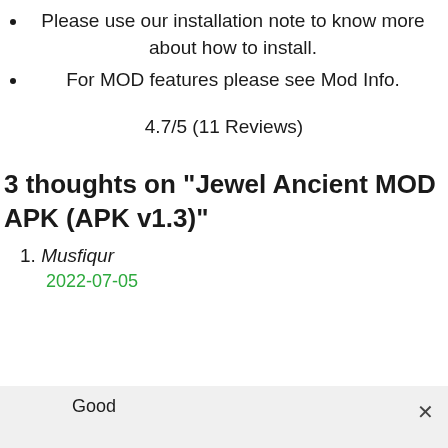Please use our installation note to know more about how to install.
For MOD features please see Mod Info.
4.7/5 (11 Reviews)
3 thoughts on “Jewel Ancient MOD APK (APK v1.3)”
1. Musfiqur
2022-07-05
Good